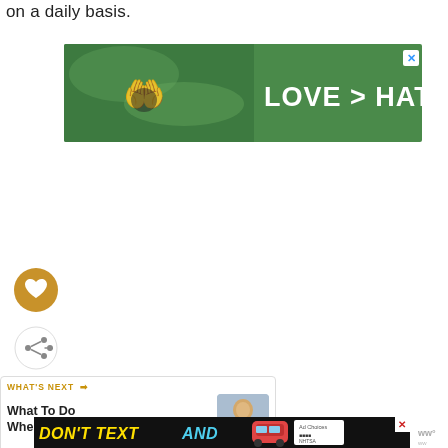on a daily basis.
[Figure (photo): Advertisement banner with hands forming a heart shape against a green background and text 'LOVE > HATE' in white bold letters with an X close button]
[Figure (illustration): Circular gold/brown button with a white heart icon (favorite button)]
[Figure (illustration): Circular white button with a share/add icon]
[Figure (infographic): WHAT'S NEXT card with text 'What To Do When Your...' and a small child photo on the right]
[Figure (photo): Advertisement banner at the bottom: 'DON'T TEXT AND [car emoji]' with NHTSA logo, ad choice logo, and a website logo. X close button visible.]